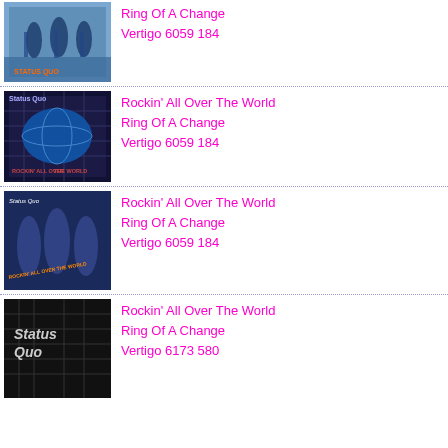[Figure (photo): Album cover showing musicians with guitars, text visible on cover]
Ring Of A Change
Vertigo 6059 184
[Figure (photo): Album cover for Rockin' All Over The World showing globe/earth image]
Rockin'  All Over The World
Ring Of A Change
Vertigo 6059 184
[Figure (photo): Album cover showing band members silhouetted in blue tones]
Rockin'  All Over The World
Ring Of A Change
Vertigo 6059 184
[Figure (photo): Album cover with Status Quo logo/text on dark background]
Rockin'  All Over The World
Ring Of A Change
Vertigo 6173 580